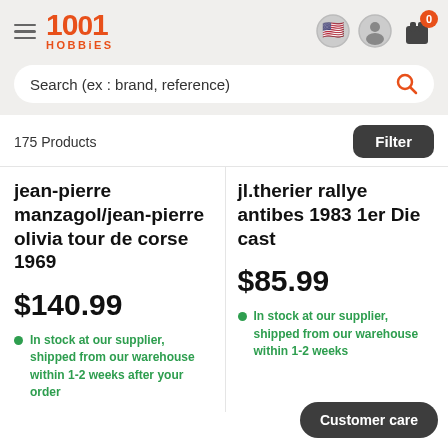1001 Hobbies
Search (ex : brand, reference)
175 Products
Filter
jean-pierre manzagol/jean-pierre olivia tour de corse 1969
$140.99
In stock at our supplier, shipped from our warehouse within 1-2 weeks after your order
jl.therier rallye antibes 1983 1er Die cast
$85.99
In stock at our supplier, shipped from our warehouse within 1-2 weeks
Customer care